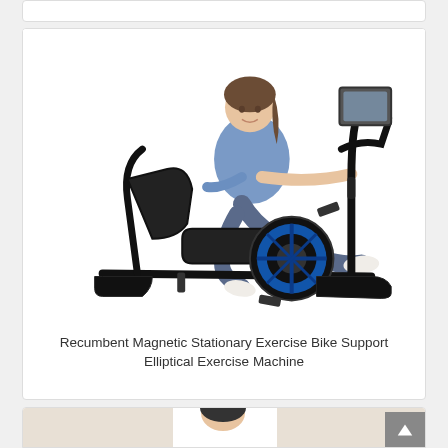[Figure (photo): Partial top of a product card showing exercise equipment at the very top of the page]
[Figure (photo): Woman riding a black and blue recumbent magnetic stationary exercise bike / elliptical exercise machine on white background]
Recumbent Magnetic Stationary Exercise Bike Support Elliptical Exercise Machine
[Figure (photo): Partial bottom card showing the top portion of another exercise bike product with a person, partially visible]